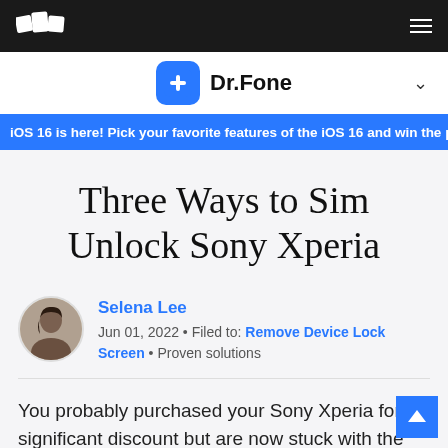Wondershare logo and hamburger menu navigation bar
[Figure (logo): Dr.Fone app logo with blue rounded square icon with white plus sign and text Dr.Fone]
iOS 16 is here! Pick your favorite features of the iOS 16 and win the prize! Win N
Three Ways to Sim Unlock Sony Xperia
Selena Lee
Jun 01, 2022 • Filed to: Remove Device Lock Screen • Proven solutions
You probably purchased your Sony Xperia for a significant discount but are now stuck with the same